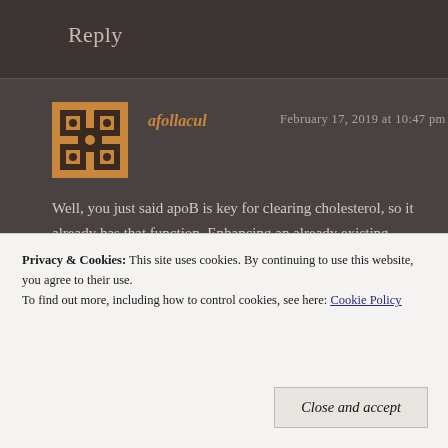Reply
afollacul  February 17, 2019 at 10:47 pm
Well, you just said apoB is key for clearing cholesterol, so it already has that function. Enhancing an already existing function is well within the limits of evolution Behe described in The Edge of Evolution. Could it be that whatever mutations polar bears have are like antibiotic resistance where mutant bacteria are missing a transport system and
Privacy & Cookies: This site uses cookies. By continuing to use this website, you agree to their use.
To find out more, including how to control cookies, see here: Cookie Policy
Close and accept